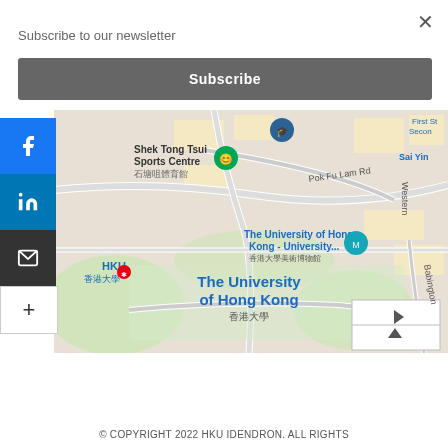Subscribe to our newsletter
Subscribe
[Figure (map): Google Maps view of The University of Hong Kong area, showing Shek Tong Tsui Sports Centre, Pok Fu Lam Rd, HKU station, The University of Hong Kong - University Museum, Babington, Sai Yin, Western, First St, Second St labels and campus layout.]
© COPYRIGHT 2022 HKU IDENDRON. ALL RIGHTS